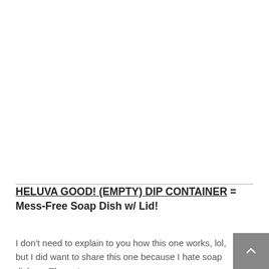HELUVA GOOD! (EMPTY) DIP CONTAINER = Mess-Free Soap Dish w/ Lid!
I don't need to explain to you how this one works, lol, but I did want to share this one because I hate soap dishes. There, I